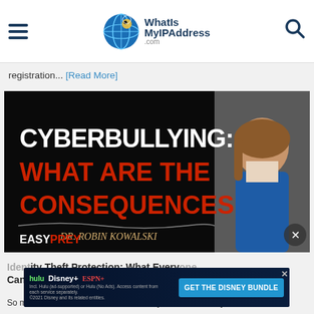WhatIsMyIPAddress.com
registration... [Read More]
[Figure (photo): Cyberbullying: What Are The Consequences - Dr. Robin Kowalski - EasyPrey podcast image with woman in blue blazer on right side]
Identity Theft Protection: What Everyone Can Do
So much of our lives are online these days. This has many
[Figure (screenshot): Disney Bundle advertisement banner with Hulu, Disney+, ESPN+ logos and GET THE DISNEY BUNDLE call to action]